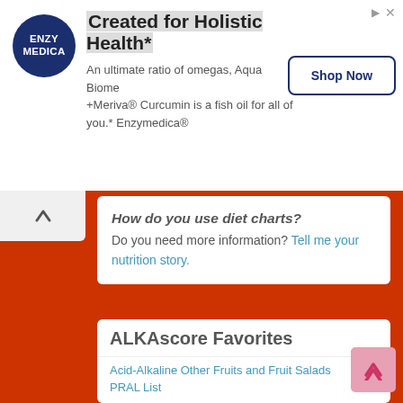[Figure (other): Enzymedica advertisement banner with logo, headline 'Created for Holistic Health*', body text about Aqua Biome +Meriva® Curcumin fish oil, and a 'Shop Now' button]
How do you use diet charts? Do you need more information? Tell me your nutrition story.
ALKAscore Favorites
Acid-Alkaline Other Fruits and Fruit Salads PRAL List
[Figure (photo): Close-up photo of rhubarb stalks with green leaves in background]